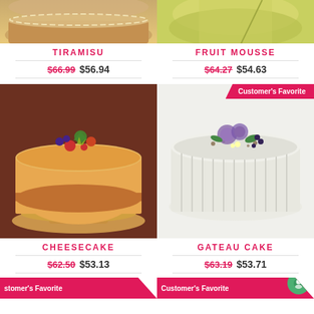[Figure (photo): Tiramisu cake product photo, top portion visible]
TIRAMISU
$66.99  $56.94
[Figure (photo): Fruit Mousse cake product photo, top portion visible]
FRUIT MOUSSE
$64.27  $54.63
Customer's Favorite
[Figure (photo): Cheesecake with fruit toppings on cake stand]
[Figure (photo): Gateau cake with floral decoration]
CHEESECAKE
$62.50  $53.13
GATEAU CAKE
$63.19  $53.71
Customer's Favorite
Customer's Favorite